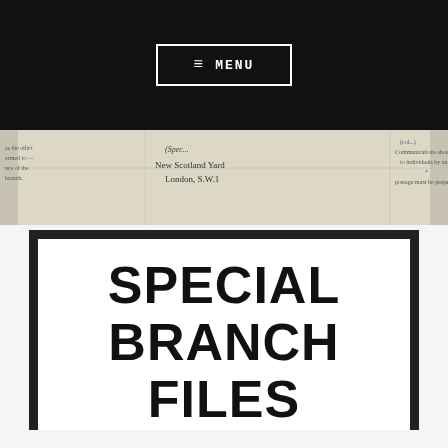≡ MENU
[Figure (photo): Scanned document header showing handwritten text with 'New Scotland Yard, London, S.W.1' and partial text about communications]
SPECIAL BRANCH FILES PROJECT